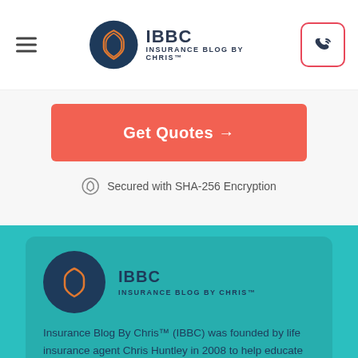[Figure (logo): IBBC Insurance Blog By Chris logo with shield icon in navy circle, hamburger menu icon on left, phone call button on right]
[Figure (other): Get Quotes button with orange-red background and arrow, and Secured with SHA-256 Encryption text below with lock icon]
Get Quotes →
Secured with SHA-256 Encryption
[Figure (logo): IBBC Insurance Blog By Chris logo on teal card with dark navy circle]
Insurance Blog By Chris™ (IBBC) was founded by life insurance agent Chris Huntley in 2008 to help educate and inform consumers on some of the most complicated aspects of insurance. Today it has grown into a global brand with an entire team of passionate researchers, writers, and insurance